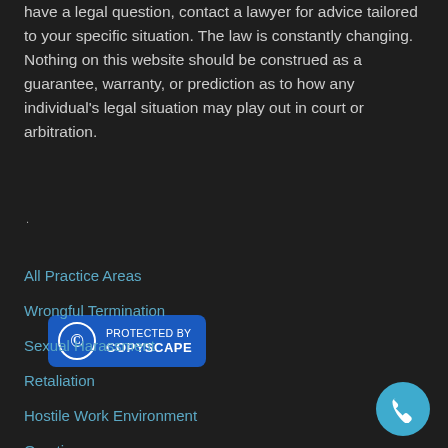have a legal question, contact a lawyer for advice tailored to your specific situation. The law is constantly changing. Nothing on this website should be construed as a guarantee, warranty, or prediction as to how any individual's legal situation may play out in court or arbitration.
[Figure (logo): Copyscape protected badge — blue rounded rectangle with copyright circle icon and text 'PROTECTED BY COPYSCAPE']
All Practice Areas
Wrongful Termination
Sexual Harassment
Retaliation
Hostile Work Environment
Overtime